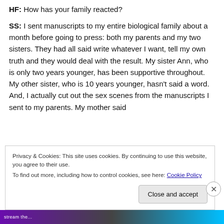HF: How has your family reacted?
SS: I sent manuscripts to my entire biological family about a month before going to press: both my parents and my two sisters. They had all said write whatever I want, tell my own truth and they would deal with the result. My sister Ann, who is only two years younger, has been supportive throughout. My other sister, who is 10 years younger, hasn't said a word. And, I actually cut out the sex scenes from the manuscripts I sent to my parents. My mother said
Privacy & Cookies: This site uses cookies. By continuing to use this website, you agree to their use.
To find out more, including how to control cookies, see here: Cookie Policy
Close and accept